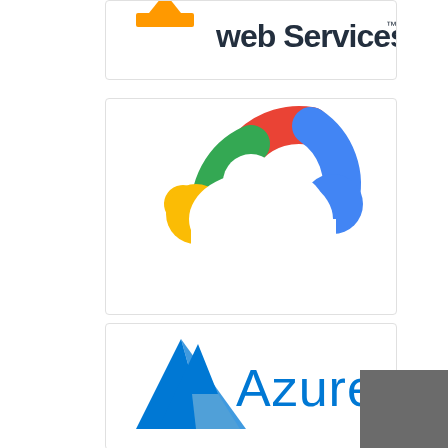[Figure (logo): Amazon Web Services logo — orange/yellow arrow-and-box icon with 'web Services' text and TM mark, partially cropped at top]
[Figure (logo): Google Cloud logo — colorful cloud icon made of red, blue, green, and yellow/gold arcs forming a stylized G-cloud shape]
[Figure (logo): Microsoft Azure logo — blue triangle/mountain icon with 'Azure' text in blue]